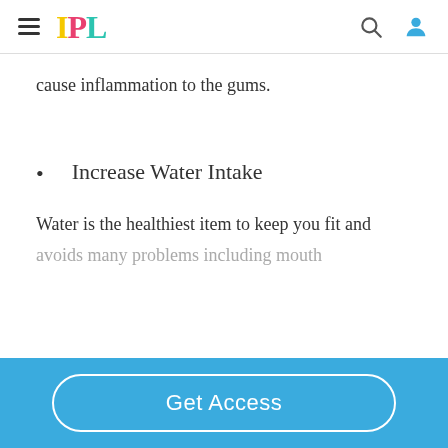IPL
cause inflammation to the gums.
Increase Water Intake
Water is the healthiest item to keep you fit and avoids many problems including mouth